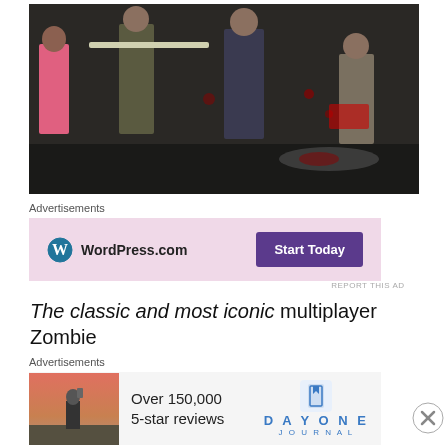[Figure (screenshot): Video game screenshot showing zombie combat scene with multiple characters fighting in an urban setting]
Advertisements
[Figure (screenshot): WordPress.com advertisement banner with pink background. Shows WordPress logo and 'Start Today' purple button.]
REPORT THIS AD
The classic and most iconic multiplayer Zombie
Advertisements
[Figure (screenshot): Day One Journal advertisement. Shows 'Over 150,000 5-star reviews' with a photo of a person and the Day One Journal logo.]
REPORT THIS AD